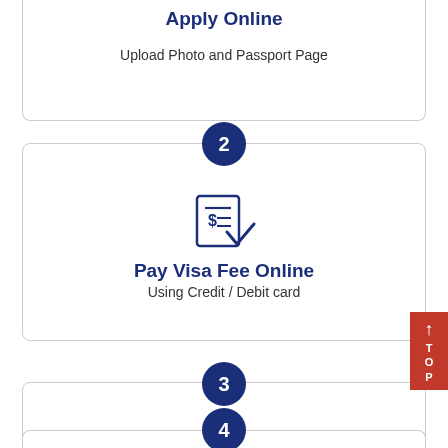Apply Online
Upload Photo and Passport Page
[Figure (infographic): Step 2 circle badge with number 2]
[Figure (infographic): Dollar receipt with checkmark icon for Pay Visa Fee Online]
Pay Visa Fee Online
Using Credit / Debit card
[Figure (infographic): Step 3 circle badge with number 3]
[Figure (infographic): Envelope with arrow icon for Receive eTV Online]
Receive eTV Online
eTV Will be sent to your e-mail
[Figure (infographic): Step 4 circle badge with number 4]